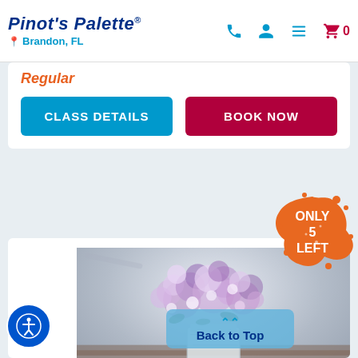Pinot's Palette | Brandon, FL
Regular
CLASS DETAILS
BOOK NOW
[Figure (infographic): Orange paint splash badge with text 'ONLY 5 LEFT']
[Figure (photo): Painting of purple/lilac flowers in a mason jar vase on a grey background]
Back to Top